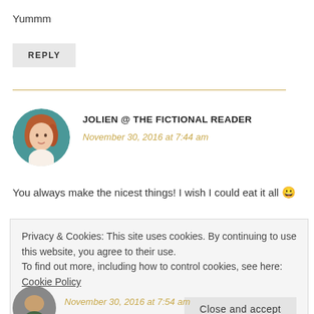Yummm
REPLY
JOLIEN @ THE FICTIONAL READER
November 30, 2016 at 7:44 am
You always make the nicest things! I wish I could eat it all 😀
Privacy & Cookies: This site uses cookies. By continuing to use this website, you agree to their use.
To find out more, including how to control cookies, see here: Cookie Policy
Close and accept
November 30, 2016 at 7:54 am